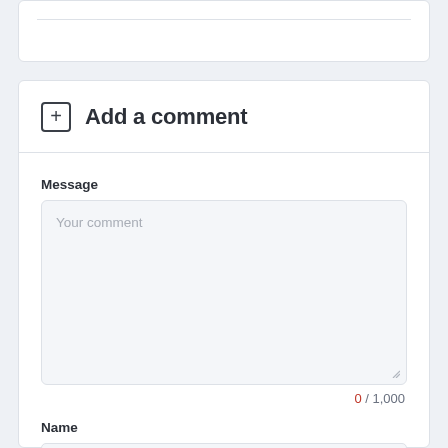Add a comment
Message
Your comment
0 / 1,000
Name